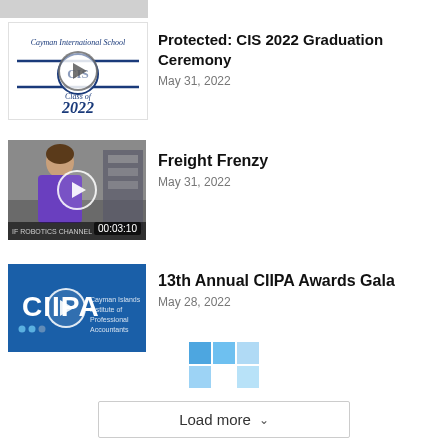[Figure (screenshot): Partial gray thumbnail at top (cropped)]
[Figure (screenshot): CIS 2022 Graduation Ceremony video thumbnail with play button overlay. White background with Cayman International School script text and Class of 2022 logo.]
Protected: CIS 2022 Graduation Ceremony
May 31, 2022
[Figure (screenshot): Freight Frenzy video thumbnail showing a person in a purple shirt in a workshop/lab setting. Duration badge shows 00:03:10.]
Freight Frenzy
May 31, 2022
[Figure (screenshot): 13th Annual CIIPA Awards Gala video thumbnail. Blue background with CIIPA logo and play button.]
13th Annual CIIPA Awards Gala
May 28, 2022
[Figure (other): Loading spinner grid of blue squares above Load more button]
Load more